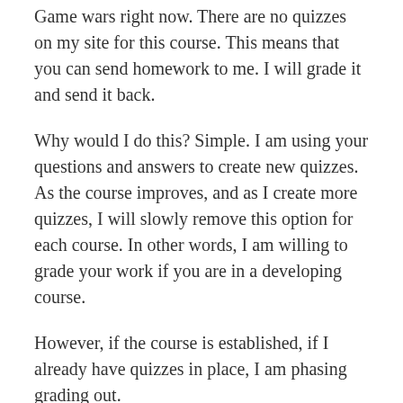Game wars right now. There are no quizzes on my site for this course. This means that you can send homework to me. I will grade it and send it back.
Why would I do this? Simple. I am using your questions and answers to create new quizzes. As the course improves, and as I create more quizzes, I will slowly remove this option for each course. In other words, I am willing to grade your work if you are in a developing course.
However, if the course is established, if I already have quizzes in place, I am phasing grading out.